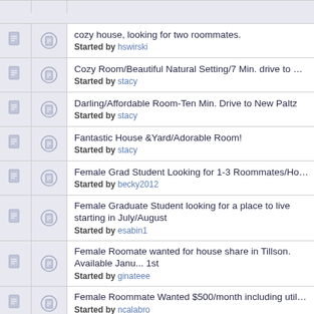cozy house, looking for two roommates. Started by hswirski
Cozy Room/Beautiful Natural Setting/7 Min. drive to New Paltz! Started by stacy
Darling/Affordable Room-Ten Min. Drive to New Paltz Started by stacy
Fantastic House &Yard/Adorable Room! Started by stacy
Female Grad Student Looking for 1-3 Roommates/Housing! Started by becky2012
Female Graduate Student looking for a place to live starting in July/August Started by esabin1
Female Roomate wanted for house share in Tillson. Available Janu... 1st Started by ginateee
Female Roommate Wanted $500/month including utilites Started by ncalabro
Fully furnished room for rent in family home - 450 all incl